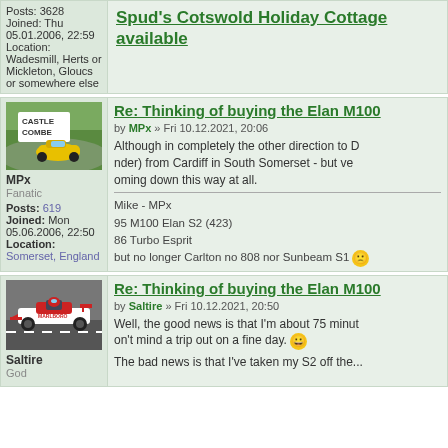Posts: 3628
Joined: Thu 05.01.2006, 22:59
Location: Wadesmill, Herts or Mickleton, Gloucs or somewhere else
Spud's Cotswold Holiday Cottage available
Re: Thinking of buying the Elan M100
by MPx » Fri 10.12.2021, 20:06
Although in completely the other direction to D... nder) from Cardiff in South Somerset - but ve... oming down this way at all.
MPx
Fanatic

Posts: 619
Joined: Mon 05.06.2006, 22:50
Location: Somerset, England
Mike - MPx
95 M100 Elan S2 (423)
86 Turbo Esprit
but no longer Carlton no 808 nor Sunbeam S1
Re: Thinking of buying the Elan M100
by Saltire » Fri 10.12.2021, 20:50
Well, the good news is that I'm about 75 minut... on't mind a trip out on a fine day.
Saltire
God
The bad news is that I've taken my S2 off the...